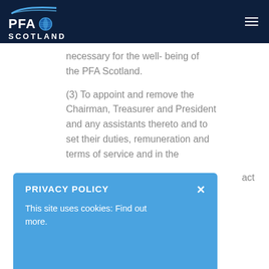PFA Scotland
necessary for the well- being of the PFA Scotland.
(3) To appoint and remove the Chairman, Treasurer and President and any assistants thereto and to set their duties, remuneration and terms of service and in the
act
Solicitors, Bankers, Insurance Brokers, Audit
PRIVACY POLICY
This site uses cookies: Find out more.